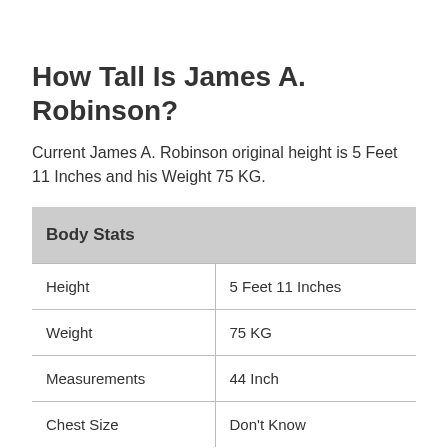How Tall Is James A. Robinson?
Current James A. Robinson original height is 5 Feet 11 Inches and his Weight 75 KG.
| Body Stats |  |
| --- | --- |
| Height | 5 Feet 11 Inches |
| Weight | 75 KG |
| Measurements | 44 Inch |
| Chest Size | Don't Know |